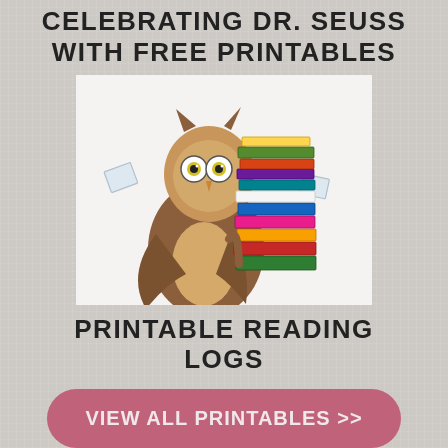CELEBRATING DR. SEUSS WITH FREE PRINTABLES
[Figure (illustration): Cartoon owl holding a tall colorful stack of books, with small papers floating around it]
PRINTABLE READING LOGS
VIEW ALL PRINTABLES >>